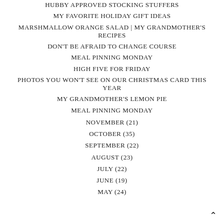HUBBY APPROVED STOCKING STUFFERS
MY FAVORITE HOLIDAY GIFT IDEAS
MARSHMALLOW ORANGE SALAD | MY GRANDMOTHER'S RECIPES
DON'T BE AFRAID TO CHANGE COURSE
MEAL PINNING MONDAY
HIGH FIVE FOR FRIDAY
PHOTOS YOU WON'T SEE ON OUR CHRISTMAS CARD THIS YEAR
MY GRANDMOTHER'S LEMON PIE
MEAL PINNING MONDAY
NOVEMBER (21)
OCTOBER (35)
SEPTEMBER (22)
AUGUST (23)
JULY (22)
JUNE (19)
MAY (24)